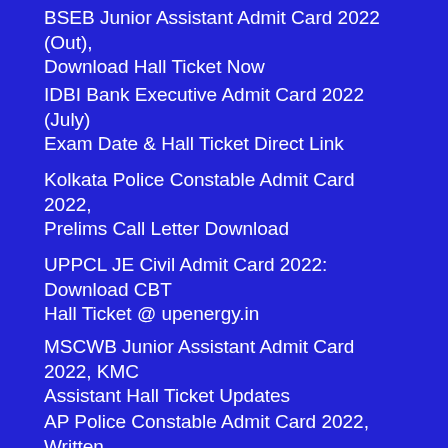BSEB Junior Assistant Admit Card 2022 (Out), Download Hall Ticket Now
IDBI Bank Executive Admit Card 2022 (July) Exam Date & Hall Ticket Direct Link
Kolkata Police Constable Admit Card 2022, Prelims Call Letter Download
UPPCL JE Civil Admit Card 2022: Download CBT Hall Ticket @ upenergy.in
MSCWB Junior Assistant Admit Card 2022, KMC Assistant Hall Ticket Updates
AP Police Constable Admit Card 2022, Written Exam Date & Hall Ticket @ slprb.ap.gov.in